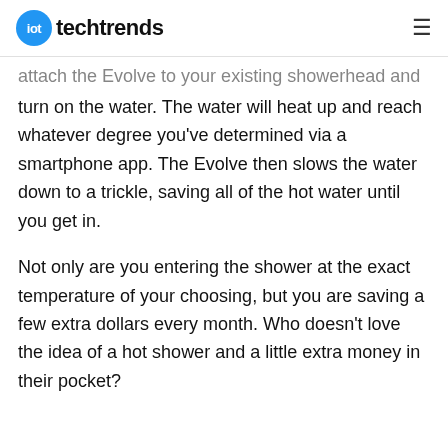iot techtrends
attach the Evolve to your existing showerhead and turn on the water. The water will heat up and reach whatever degree you've determined via a smartphone app. The Evolve then slows the water down to a trickle, saving all of the hot water until you get in.
Not only are you entering the shower at the exact temperature of your choosing, but you are saving a few extra dollars every month. Who doesn't love the idea of a hot shower and a little extra money in their pocket?